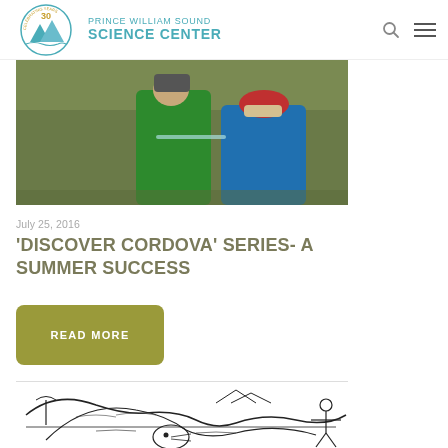Prince William Sound Science Center
[Figure (photo): Children wearing colorful outdoor jackets (green and blue) standing on grass, one with a red hat]
July 25, 2016
'DISCOVER CORDOVA' SERIES- A SUMMER SUCCESS
READ MORE
[Figure (illustration): Black and white line drawing of a marine scene featuring sea mammals (seals/sea lions) with mountains and water in the background]